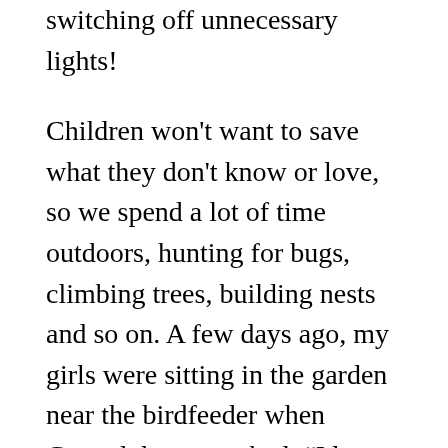switching off unnecessary lights!
Children won't want to save what they don't know or love, so we spend a lot of time outdoors, hunting for bugs, climbing trees, building nests and so on. A few days ago, my girls were sitting in the garden near the birdfeeder when Gwendolyn remarked, “I love watching the birds; it’s better than TV!” She came in a few minutes later and asked to watch Paw Patrol, but nevertheless, it was a wonderful moment.
Some of my favourite books to help nurture a love for the natural world in little ones include